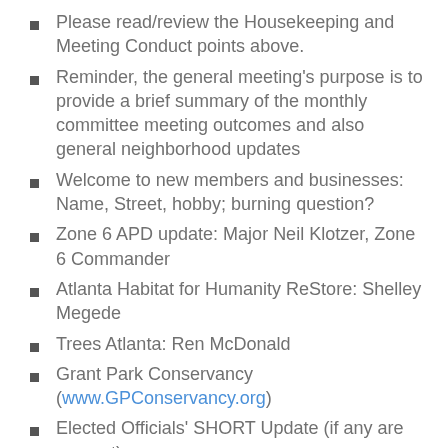Please read/review the Housekeeping and Meeting Conduct points above.
Reminder, the general meeting's purpose is to provide a brief summary of the monthly committee meeting outcomes and also general neighborhood updates
Welcome to new members and businesses: Name, Street, hobby; burning question?
Zone 6 APD update: Major Neil Klotzer, Zone 6 Commander
Atlanta Habitat for Humanity ReStore: Shelley Megede
Trees Atlanta: Ren McDonald
Grant Park Conservancy (www.GPConservancy.org)
Elected Officials' SHORT Update (if any are present)
Grant Park Schools Update
Grant Park Parent Network Update - (GrantParkParents.org)
Easter Egg Hunt: April 22